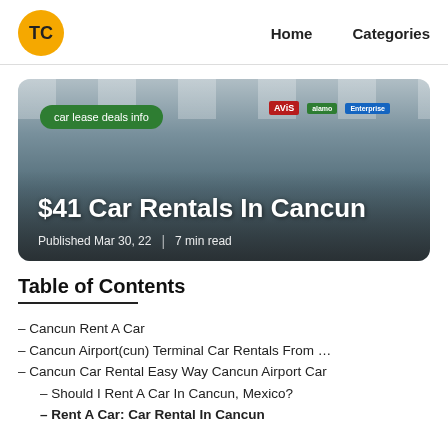TC | Home | Categories
[Figure (photo): Airport car rental terminal interior with rental company signs (Thrifty, Alamo, Avis). Overlaid text: 'car lease deals info' tag, '$41 Car Rentals In Cancun' title, 'Published Mar 30, 22 | 7 min read' meta.]
Table of Contents
– Cancun Rent A Car
– Cancun Airport(cun) Terminal Car Rentals From …
– Cancun Car Rental Easy Way Cancun Airport Car
– Should I Rent A Car In Cancun, Mexico?
– Rent A Car: Car Rental In Cancun